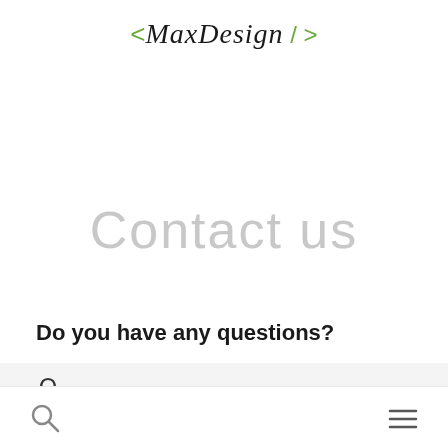[Figure (logo): MaxDesign logo with green angle brackets and slash, cursive font]
Contact us
Do you have any questions?
PURCHASE & ORDER
DELIVERY & RETURNS
[Figure (other): Back navigation button — circle with green left chevron]
[Figure (other): Bottom navigation bar with search icon and hamburger menu icon]